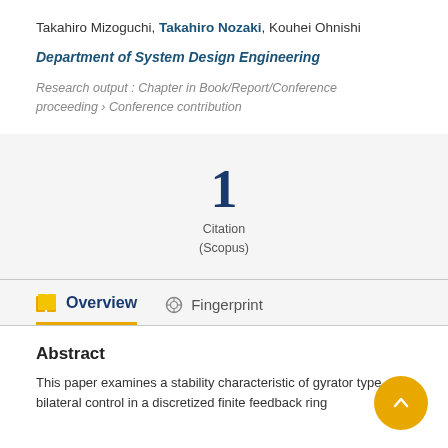Takahiro Mizoguchi, Takahiro Nozaki, Kouhei Ohnishi
Department of System Design Engineering
Research output: Chapter in Book/Report/Conference proceeding › Conference contribution
1 Citation (Scopus)
Overview   Fingerprint
Abstract
This paper examines a stability characteristic of gyrator type bilateral control in a discretized finite feedback ring...